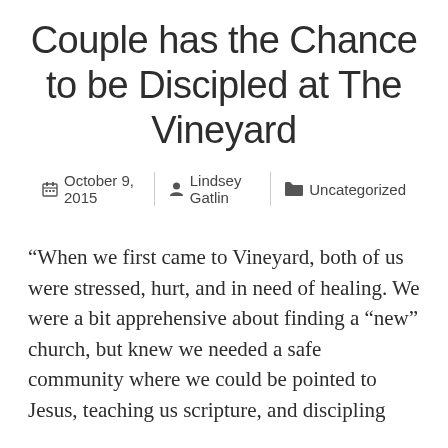Couple has the Chance to be Discipled at The Vineyard
October 9, 2015 | Lindsey Gatlin | Uncategorized
“When we first came to Vineyard, both of us were stressed, hurt, and in need of healing. We were a bit apprehensive about finding a “new” church, but knew we needed a safe community where we could be pointed to Jesus, teaching us scripture, and discipling